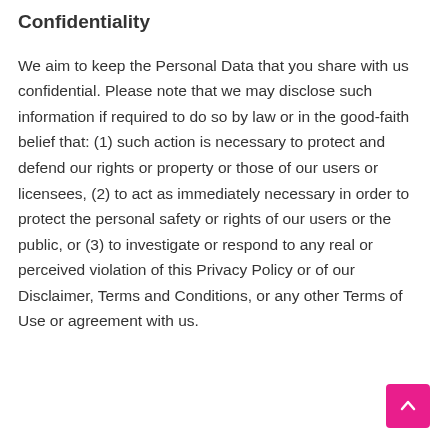Confidentiality
We aim to keep the Personal Data that you share with us confidential. Please note that we may disclose such information if required to do so by law or in the good-faith belief that: (1) such action is necessary to protect and defend our rights or property or those of our users or licensees, (2) to act as immediately necessary in order to protect the personal safety or rights of our users or the public, or (3) to investigate or respond to any real or perceived violation of this Privacy Policy or of our Disclaimer, Terms and Conditions, or any other Terms of Use or agreement with us.